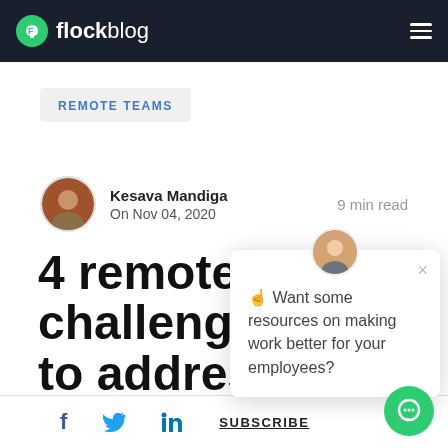flock blog
REMOTE TEAMS
Kesava Mandiga
On Nov 04, 2020
9 min read
4 remote challenges to address them
☝ Want some resources on making work better for your employees?
f  🐦  in  SUBSCRIBE